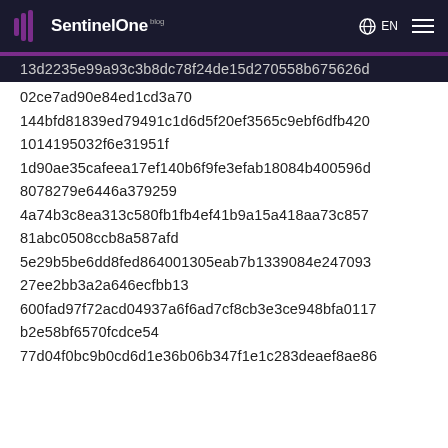SentinelOne blog | EN
13d2235e99a93c3b8dc78f24de15d270558b675626d
02ce7ad90e84ed1cd3a70
144bfd81839ed79491c1d6d5f20ef3565c9ebf6dfb420
1014195032f6e31951f
1d90ae35cafeea17ef140b6f9fe3efab18084b400596d
8078279e6446a379259
4a74b3c8ea313c580fb1fb4ef41b9a15a418aa73c857
81abc0508ccb8a587afd
5e29b5be6dd8fed864001305eab7b1339084e247093
27ee2bb3a2a646ecfbb13
600fad97f72acd04937a6f6ad7cf8cb3e3ce948bfa0117
b2e58bf6570fcdce54
77d04f0bc9b0cd6d1e36b06b347f1e1c283deaef8ae86